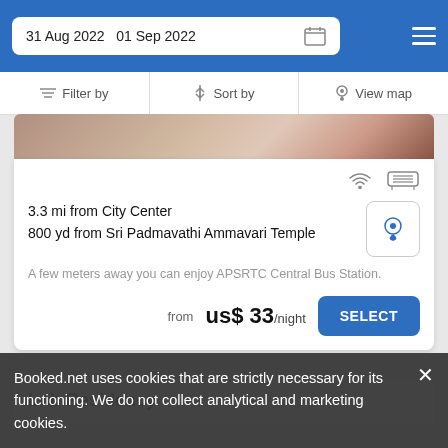31 Aug 2022  01 Sep 2022
Filter by   Sort by   View map
[Figure (photo): Partial hotel room or property photo]
3.3 mi from City Center
800 yd from Sri Padmavathi Ammavari Temple
A few meters away you can enjoy APSRTC Central Bus Station.
from  us$ 33/night
SELECT
Lnb Residency
Booked.net uses cookies that are strictly necessary for its functioning. We do not collect analytical and marketing cookies.